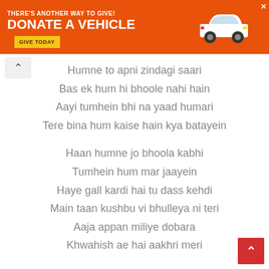[Figure (screenshot): Orange advertisement banner: THERE'S ANOTHER WAY TO GIVE! DONATE A VEHICLE | GIVE TODAY button | car illustration on right]
Humne to apni zindagi saari
Bas ek hum hi bhoole nahi hain
Aayi tumhein bhi na yaad humari
Tere bina hum kaise hain kya batayein
Haan humne jo bhoola kabhi
Tumhein hum mar jaayein
Haye gall kardi hai tu dass kehdi
Main taan kushbu vi bhulleya ni teri
Aaja appan miliye dobara
Khwahish ae hai aakhri meri
Rehna humein yaad karte kaha tha